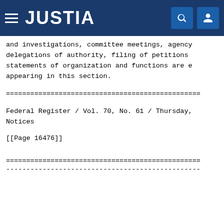JUSTIA
and investigations, committee meetings, agency delegations of authority, filing of petitions statements of organization and functions are e appearing in this section.
========================================
Federal Register / Vol. 70, No. 61 / Thursday, Notices
[[Page 16476]]
========================================
----------------------------------------